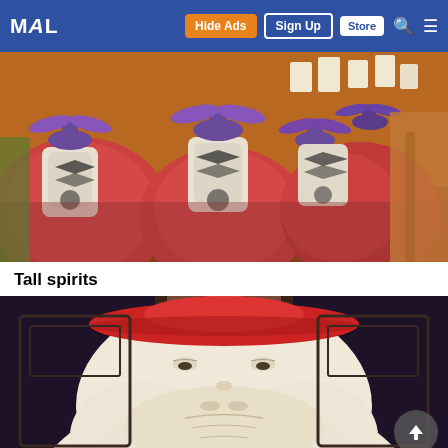MAL | Hide Ads | Sign Up | Store | Search | Menu
[Figure (illustration): Anime screenshot from Spirited Away showing multiple tall spirit characters with purple propeller-like hats and red cloaks, decorative mask-like faces, standing together in a warmly lit interior setting.]
Tall spirits
[Figure (illustration): Anime screenshot of a large round-faced character with drooping jowls wearing a red hat, shown from below in a dark corridor setting. A circular scroll-to-top button with an upward arrow is overlaid in the bottom right corner.]